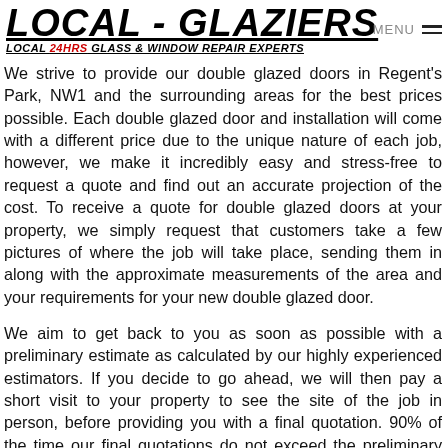LOCAL - GLAZIERS LOCAL 24HRS GLASS & WINDOW REPAIR EXPERTS MENU
We strive to provide our double glazed doors in Regent's Park, NW1 and the surrounding areas for the best prices possible. Each double glazed door and installation will come with a different price due to the unique nature of each job, however, we make it incredibly easy and stress-free to request a quote and find out an accurate projection of the cost. To receive a quote for double glazed doors at your property, we simply request that customers take a few pictures of where the job will take place, sending them in along with the approximate measurements of the area and your requirements for your new double glazed door.
We aim to get back to you as soon as possible with a preliminary estimate as calculated by our highly experienced estimators. If you decide to go ahead, we will then pay a short visit to your property to see the site of the job in person, before providing you with a final quotation. 90% of the time our final quotations do not exceed the preliminary estimate, ensuring that you do not encounter any unpleasant surprises with the costs.